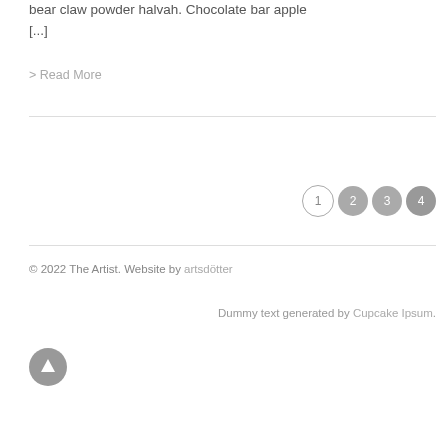bear claw powder halvah. Chocolate bar apple [...]
> Read More
[Figure (other): Pagination: circles labeled 1 (outline), 2 (filled gray), 3 (filled gray), 4 (filled dark gray)]
© 2022 The Artist. Website by artsdötter
Dummy text generated by Cupcake Ipsum.
[Figure (other): Back to top arrow-up button, circular gray icon]